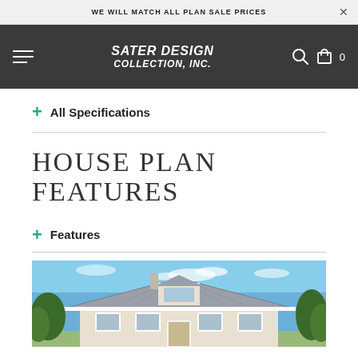WE WILL MATCH ALL PLAN SALE PRICES
[Figure (screenshot): Sater Design Collection, Inc. website navigation header with dark background, hamburger menu, logo, search icon, and cart icon showing 0 items]
+ All Specifications
HOUSE PLAN FEATURES
+ Features
[Figure (photo): Exterior photo of a house with a metal hip roof, dormer window, white trim, and trees in the background under a blue sky]